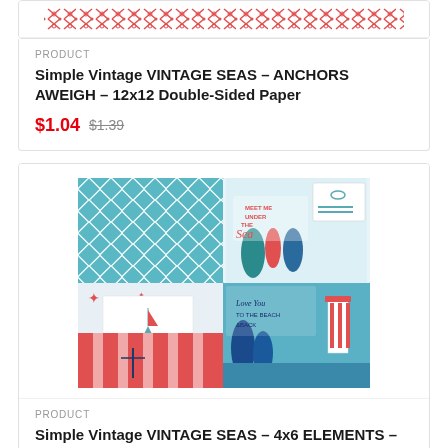[Figure (photo): Top of a product card showing a nautical red anchor/cross pattern on white scrapbook paper, partially cropped]
PRODUCT
Simple Vintage VINTAGE SEAS – ANCHORS AWEIGH – 12x12 Double-Sided Paper
$1.04 $1.39
[Figure (photo): Scrapbook paper product photo showing multiple sheets with nautical themes: teal diamond lattice pattern, 'Meet Me Under the Sea' text with coral and sea plants, lighthouse, red stripes, starfish, and 'Love You to the Beach & Back' cursive text]
PRODUCT
Simple Vintage VINTAGE SEAS – 4x6 ELEMENTS – 12x12 Double-Sided Paper